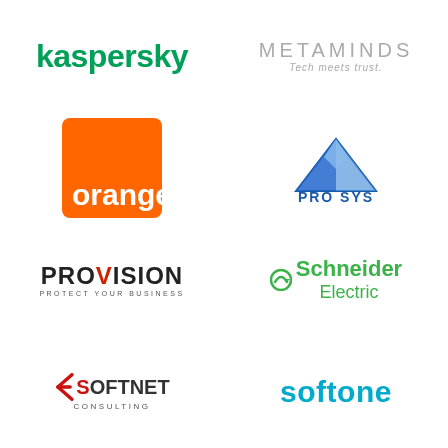[Figure (logo): Kaspersky logo — bold green lowercase text 'kaspersky']
[Figure (logo): MetaMinds logo — light gray uppercase 'METAMINDS' with tagline 'Tech meets trust.']
[Figure (logo): Orange telecom logo — orange square with white bold text 'orange™']
[Figure (logo): PRO SYS logo — blue mountain/triangle icon above bold blue text 'PRO SYS']
[Figure (logo): PRoVision logo — dark bold text 'PRoVISION' with red V and tagline 'PROTECT YOUR BUSINESS']
[Figure (logo): Schneider Electric logo — green text 'Schneider Electric' with green circular arrow icon]
[Figure (logo): SoftNet Consulting logo — red arrow/S shape beside dark text 'SOFTNET' with 'CONSULTING' below]
[Figure (logo): SoftOne logo — cyan/teal bold lowercase text 'softone']